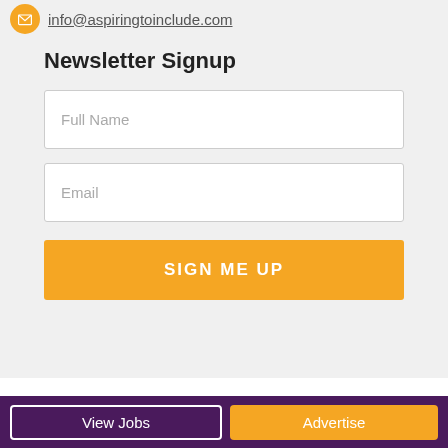info@aspiringtoinclude.com
Newsletter Signup
[Figure (screenshot): Full Name input field (text box)]
[Figure (screenshot): Email input field (text box)]
[Figure (screenshot): SIGN ME UP orange button]
Content and other materials contained on this website is subject to
View Jobs   Advertise